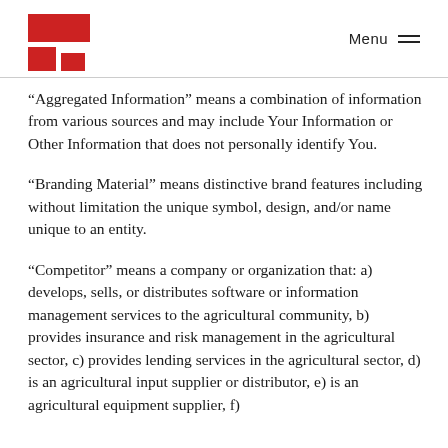Menu
“Aggregated Information” means a combination of information from various sources and may include Your Information or Other Information that does not personally identify You.
“Branding Material” means distinctive brand features including without limitation the unique symbol, design, and/or name unique to an entity.
“Competitor” means a company or organization that: a) develops, sells, or distributes software or information management services to the agricultural community, b) provides insurance and risk management in the agricultural sector, c) provides lending services in the agricultural sector, d) is an agricultural input supplier or distributor, e) is an agricultural equipment supplier, f)